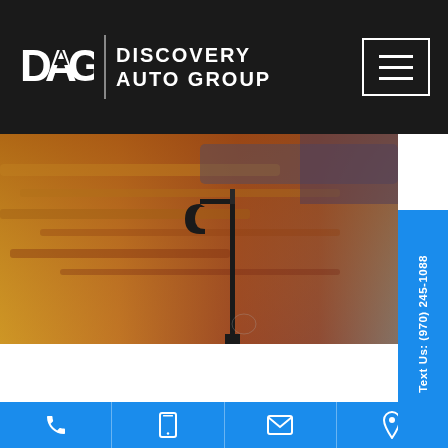Discovery Auto Group
[Figure (screenshot): Hero image showing a sunset sky with warm orange and yellow tones, with a silhouette of a street lamp post]
Text Us: (970) 245-1088
[Figure (infographic): Bottom navigation bar with four icons: phone, mobile/tablet, email/envelope, and map pin/location on blue background]